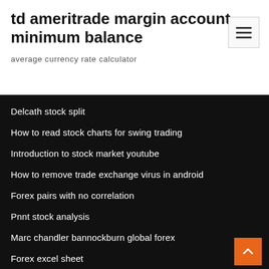td ameritrade margin account minimum balance
average currency rate calculator
Delcath stock split
How to read stock charts for swing trading
Introduction to stock market youtube
How to remove trade exchange virus in android
Forex pairs with no correlation
Pnnt stock analysis
Marc chandler bannockburn global forex
Forex excel sheet